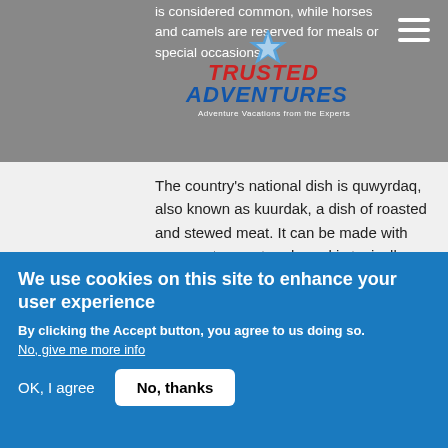[Figure (logo): Trusted Adventures logo with stylized compass/star graphic. Text reads TRUSTED ADVENTURES in red and blue italic bold, with tagline 'Adventure Vacations from the Experts' in white below.]
is considered common, while horses and camels are reserved for meals or special occasions.
The country's national dish is quwyrdaq, also known as kuurdak, a dish of roasted and stewed meat. It can be made with any meat except pork, and is typically cooked with mutton or beef. The most popular dish in Kazakhstan, however, is besbarmak, boiled horse or mutton meat also known as "five fingers" because it is eaten with the hands. Besbarmak is typically accompanied with a sheet of boiled pasta and a meat broth (soup).
We use cookies on this site to enhance your user experience
By clicking the Accept button, you agree to us doing so.
No, give me more info
OK, I agree
No, thanks